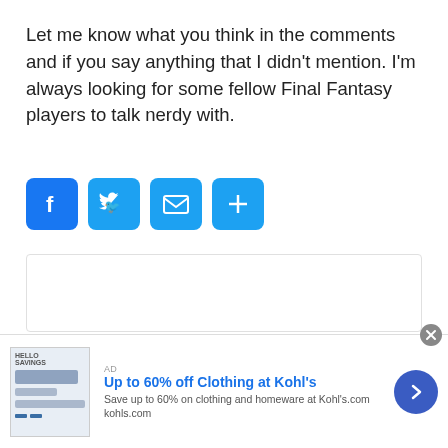Let me know what you think in the comments and if you say anything that I didn't mention. I'm always looking for some fellow Final Fantasy players to talk nerdy with.
[Figure (other): Social share buttons: Facebook, Twitter, Email, More (plus sign), all in blue rounded square icons]
PUBLISHED BY
Kyle Glatz
I am a freelancer specializing in SEO content writing. I write in a variety of niches
[Figure (screenshot): Advertisement banner: Up to 60% off Clothing at Kohl's. Save up to 60% on clothing and homeware at Kohl's.com. kohls.com]